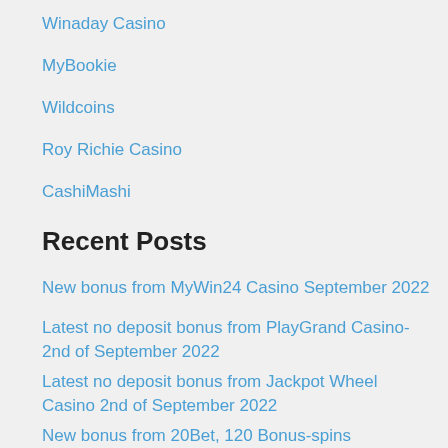Winaday Casino
MyBookie
Wildcoins
Roy Richie Casino
CashiMashi
Recent Posts
New bonus from MyWin24 Casino September 2022
Latest no deposit bonus from PlayGrand Casino- 2nd of September 2022
Latest no deposit bonus from Jackpot Wheel Casino 2nd of September 2022
New bonus from 20Bet, 120 Bonus-spins
Latest Juicy Vegas no deposit bonus- 1st of September 2022